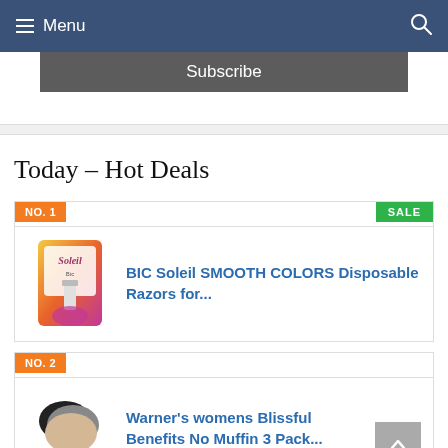Menu
Subscribe
Today – Hot Deals
NO. 1
SALE
[Figure (photo): BIC Soleil product packaging with pink/orange gradient packaging]
BIC Soleil SMOOTH COLORS Disposable Razors for...
NO. 2
[Figure (photo): Warner's womens underwear multi-pack in black, grey, and beige]
Warner's womens Blissful Benefits No Muffin 3 Pack...